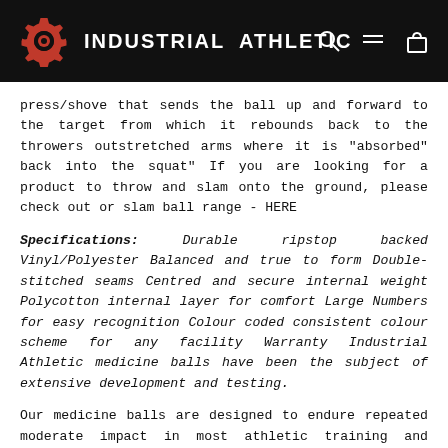INDUSTRIAL ATHLETIC
press/shove that sends the ball up and forward to the target from which it rebounds back to the throwers outstretched arms where it is "absorbed" back into the squat" If you are looking for a product to throw and slam onto the ground, please check out or slam ball range - HERE
Specifications: Durable ripstop backed Vinyl/Polyester Balanced and true to form Double-stitched seams Centred and secure internal weight Polycotton internal layer for comfort Large Numbers for easy recognition Colour coded consistent colour scheme for any facility Warranty Industrial Athletic medicine balls have been the subject of extensive development and testing.
Our medicine balls are designed to endure repeated moderate impact in most athletic training and fitness situations. Industrial Athletic supply medicine balls to functional fitness facilities, universities and schools, fitness clubs, and professional sports